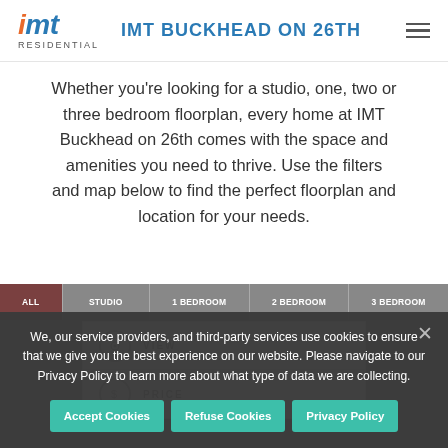IMT BUCKHEAD ON 26TH
Whether you're looking for a studio, one, two or three bedroom floorplan, every home at IMT Buckhead on 26th comes with the space and amenities you need to thrive. Use the filters and map below to find the perfect floorplan and location for your needs.
| All | Studio | 1 Bedroom | 2 Bedroom | 3 Bedroom |
| --- | --- | --- | --- | --- |
We, our service providers, and third-party services use cookies to ensure that we give you the best experience on our website. Please navigate to our Privacy Policy to learn more about what type of data we are collecting.